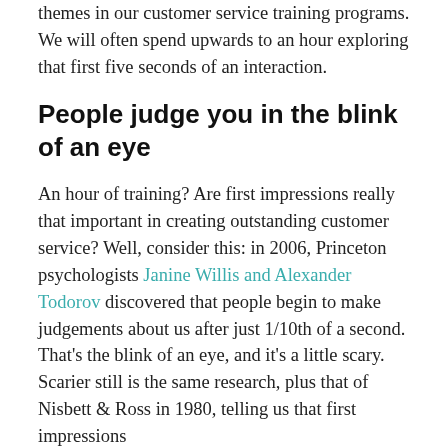themes in our customer service training programs. We will often spend upwards to an hour exploring that first five seconds of an interaction.
People judge you in the blink of an eye
An hour of training? Are first impressions really that important in creating outstanding customer service? Well, consider this: in 2006, Princeton psychologists Janine Willis and Alexander Todorov discovered that people begin to make judgements about us after just 1/10th of a second. That's the blink of an eye, and it's a little scary. Scarier still is the same research, plus that of Nisbett & Ross in 1980, telling us that first impressions